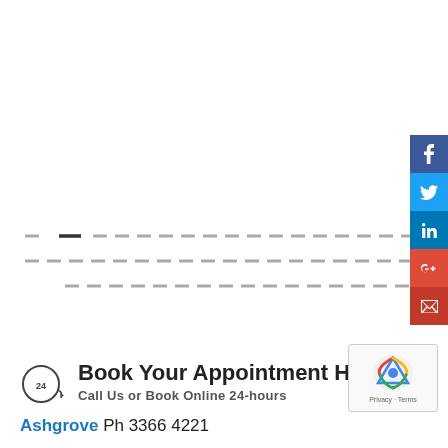[Figure (infographic): Three horizontal dashed lines stretching across the page width, suggesting a loading or placeholder content area]
[Figure (other): Vertical social media sharing sidebar with Facebook (blue), Twitter (light blue), LinkedIn (dark blue), Google+ (red), and Email (dark red) icon buttons]
Book Your Appointment Here!
Call Us or Book Online 24-hours
Ashgrove Ph 3366 4221
[Figure (other): reCAPTCHA widget showing the reCAPTCHA logo with Privacy and Terms text]